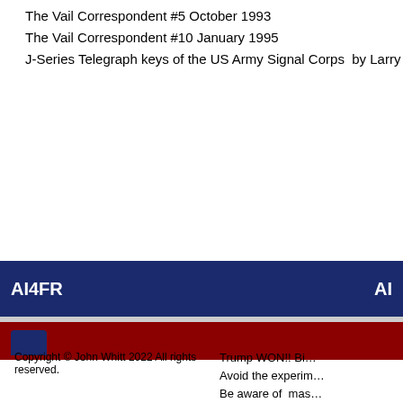The Vail Correspondent #5 October 1993
The Vail Correspondent #10 January 1995
J-Series Telegraph keys of the US Army Signal Corps  by Larry Nut…
[Figure (other): AI4FR website banner with navy blue bar showing 'AI4FR' on left and 'AI' on right, a gray separator, and a dark red bar below with a navy tab element]
Copyright © John Whitt 2022 All rights reserved.
Trump WON!! Bi…
Avoid the experim…
Be aware of mas…
Think Critically!!
If you've ever wo…